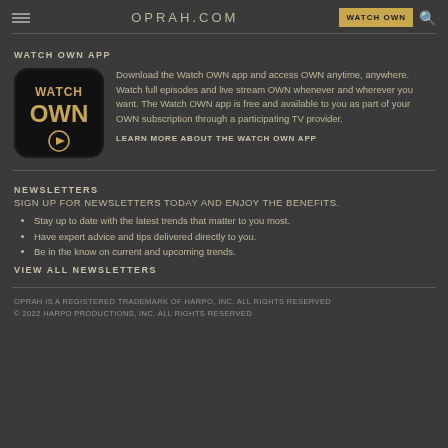OPRAH.COM  WATCH OWN
WATCH OWN APP
[Figure (logo): Watch OWN app icon — black rounded square with gold 'WATCH OWN' text and gold play button]
Download the Watch OWN app and access OWN anytime, anywhere. Watch full episodes and live stream OWN whenever and wherever you want. The Watch OWN app is free and available to you as part of your OWN subscription through a participating TV provider.
LEARN MORE ABOUT THE WATCH OWN APP
NEWSLETTERS
SIGN UP FOR NEWSLETTERS TODAY AND ENJOY THE BENEFITS.
Stay up to date with the latest trends that matter to you most.
Have expert advice and tips delivered directly to you.
Be in the know on current and upcoming trends.
VIEW ALL NEWSLETTERS
OPRAH IS A REGISTERED TRADEMARK OF HARPO, INC. ALL RIGHTS RESERVED © 2022 HARPO PRODUCTIONS, INC. ALL RIGHTS RESERVED